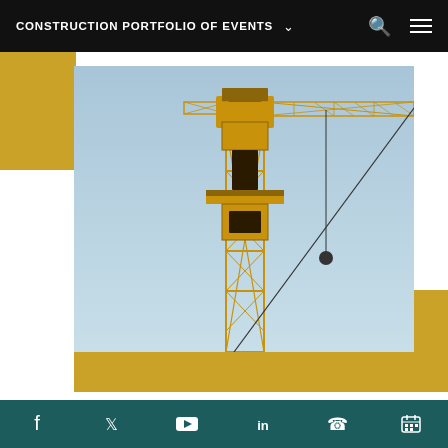CONSTRUCTION PORTFOLIO OF EVENTS
[Figure (photo): Close-up photograph of a yellow tower crane against a light blue sky, showing the crane mast, jib, and hook]
LIFTING, MATERIALS HANDLING &
Social media icons: Facebook, Twitter, YouTube, LinkedIn, Phone, Calendar